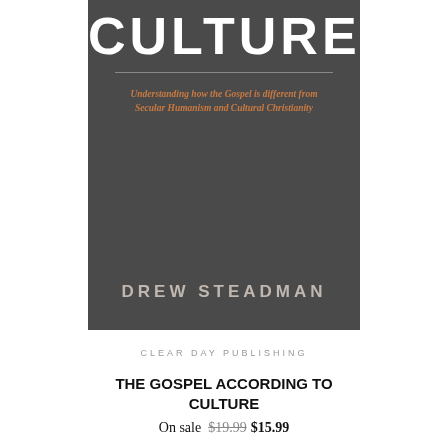[Figure (illustration): Book cover for 'The Gospel According to Culture' by Drew Steadman. Dark gray/charcoal background. Large white bold text reading 'CULTURE' at the top. Horizontal divider line. Subtitle in orange/rust italic text: 'Understanding how the Gospel is different from Secular Humanism and Cultural Christianity'. Author name in light gray spaced capitals: 'DREW STEADMAN' near the bottom.]
CLEAR DAY PUBLISHING
THE GOSPEL ACCORDING TO CULTURE
On sale $19.99 $15.99